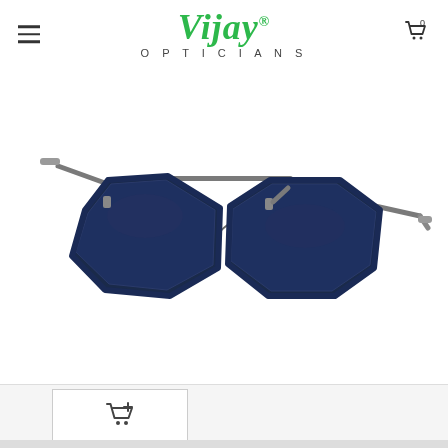[Figure (logo): Vijay Opticians logo with green italic text 'Vijay' with registered trademark symbol and 'OPTICIANS' in spaced capitals below]
[Figure (photo): Aviator-style sunglasses with hexagonal dark blue/navy lenses, gunmetal silver metal bridge and arms, grey acetate temple tips, product photo on white background]
[Figure (other): Add to cart icon thumbnail button in a white bordered box]